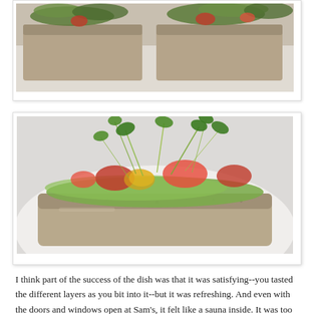[Figure (photo): Close-up photo of open-faced sandwich on whole grain bread with avocado spread, red tomatoes, and microgreens/sprouts on a white plate — partial top crop]
[Figure (photo): Close-up photo of open-faced sandwich on whole grain bread topped with avocado spread, diced red tomatoes, and fresh microgreens/sprouts, served on a white plate]
I think part of the success of the dish was that it was satisfying--you tasted the different layers as you bit into it--but it was refreshing. And even with the doors and windows open at Sam's, it felt like a sauna inside. It was too oppressive to possibly consider expending the energy to pick up a cracker, spread on some gorgonzola and drizzle it with honey. That was just way too much work. You